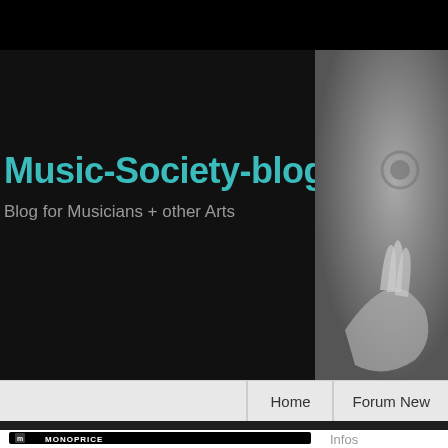Music-Society-blog
Blog for Musicians + other Arts
[Figure (photo): Grayscale photo of a hand and microphone/music scene]
Home  Forum New
[Figure (logo): Monoprice advertisement banner with logo]
[Figure (photo): Soundcore advertisement: Absolute Immersion. In jede einzelne Note. Jetzt Kaufen]
Infos
Ungültige k
3. August 2022
Our Score Ch minute mails
Continue r
[Figure (screenshot): Partial advertisement banner with panda image and 'Pa' text]
Privacy & Cookies Policy